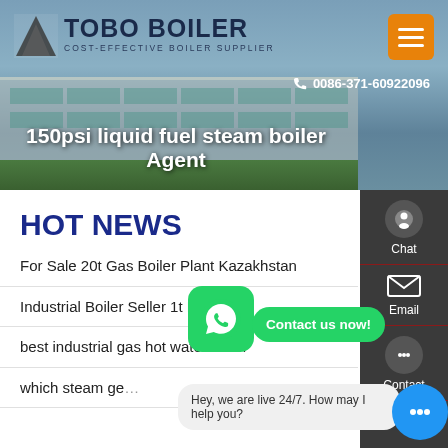[Figure (screenshot): Tobo Boiler website header banner showing a factory building background with logo, phone number, hamburger menu, and page title '150psi liquid fuel steam boiler Agent']
HOT NEWS
For Sale 20t Gas Boiler Plant Kazakhstan
Industrial Boiler Seller 1t Be...
best industrial gas hot water boiler
which steam ge...
[Figure (screenshot): WhatsApp contact button (green rounded square with phone icon) and 'Contact us now!' green pill button]
Hey, we are live 24/7. How may I help you?